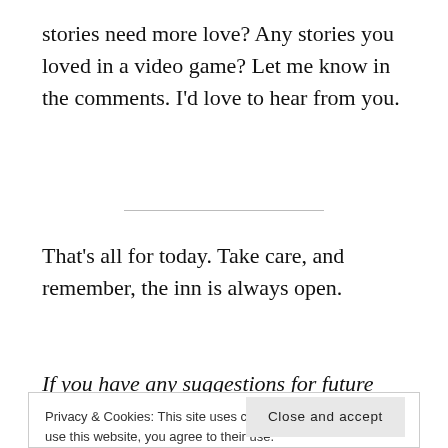stories need more love? Any stories you loved in a video game? Let me know in the comments. I’d love to hear from you.
That’s all for today. Take care, and remember, the inn is always open.
If you have any suggestions for future topics and
Privacy & Cookies: This site uses cookies. By continuing to use this website, you agree to their use. To find out more, including how to control cookies, see here: Cookie Policy
Close and accept
supporting...